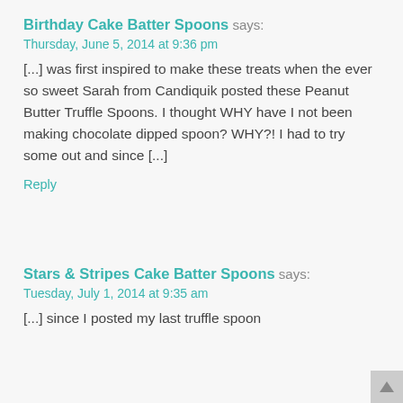Birthday Cake Batter Spoons says:
Thursday, June 5, 2014 at 9:36 pm
[...] was first inspired to make these treats when the ever so sweet Sarah from Candiquik posted these Peanut Butter Truffle Spoons. I thought WHY have I not been making chocolate dipped spoon? WHY?! I had to try some out and since [...]
Reply
Stars & Stripes Cake Batter Spoons says:
Tuesday, July 1, 2014 at 9:35 am
[...] since I posted my last truffle spoon